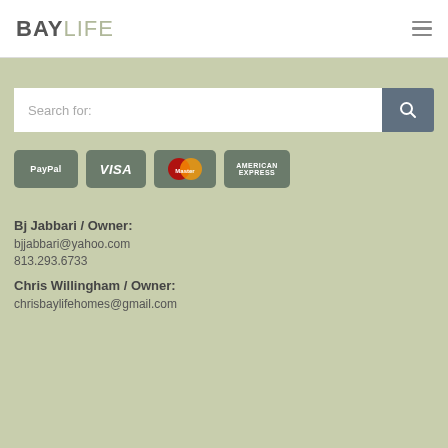BAY LIFE
[Figure (screenshot): Search bar with text 'Search for:' and a teal/blue search button with magnifying glass icon]
[Figure (infographic): Payment method icons: PayPal, Visa, MasterCard, American Express]
Bj Jabbari / Owner:
bjjabbari@yahoo.com
813.293.6733
Chris Willingham / Owner:
chrisbaylifehomes@gmail.com